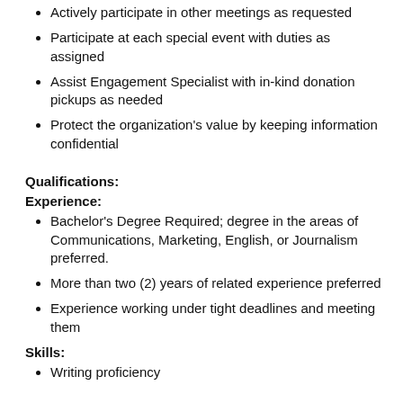Actively participate in other meetings as requested
Participate at each special event with duties as assigned
Assist Engagement Specialist with in-kind donation pickups as needed
Protect the organization's value by keeping information confidential
Qualifications:
Experience:
Bachelor's Degree Required; degree in the areas of Communications, Marketing, English, or Journalism preferred.
More than two (2) years of related experience preferred
Experience working under tight deadlines and meeting them
Skills:
Writing proficiency